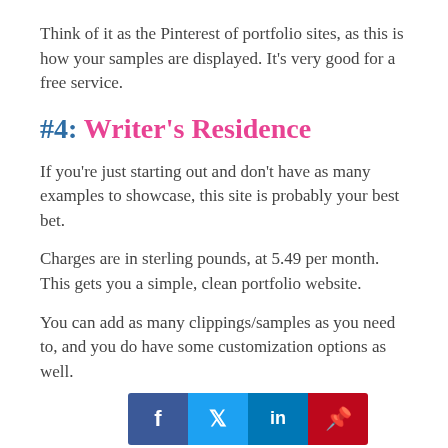Think of it as the Pinterest of portfolio sites, as this is how your samples are displayed. It’s very good for a free service.
#4: Writer’s Residence
If you’re just starting out and don’t have as many examples to showcase, this site is probably your best bet.
Charges are in sterling pounds, at 5.49 per month. This gets you a simple, clean portfolio website.
You can add as many clippings/samples as you need to, and you do have some customization options as well.
[Figure (infographic): Social sharing bar with Facebook, Twitter, LinkedIn, and Pinterest icons]
I love that it is very clean and clutter free.